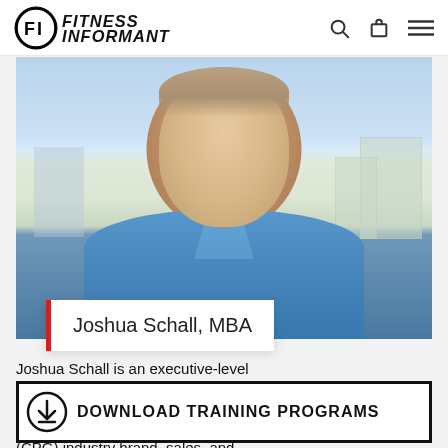Fitness Informant — navigation bar with logo, search, cart, and menu icons
[Figure (photo): Head and shoulders photo of Joshua Schall, a man in a blue collared shirt, smiling, with an urban skyline and trees in the background]
Joshua Schall, MBA
Joshua Schall is an executive-level
[Figure (infographic): Download Training Programs banner with download icon and bold uppercase text: DOWNLOAD TRAINING PROGRAMS]
(CPG) industry brand, sales, and